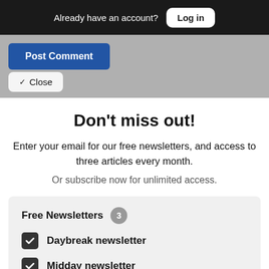Already have an account? Log in
Post Comment
Close
Don't miss out!
Enter your email for our free newsletters, and access to three articles every month.
Or subscribe now for unlimited access.
Free Newsletters 3
Daybreak newsletter
Midday newsletter